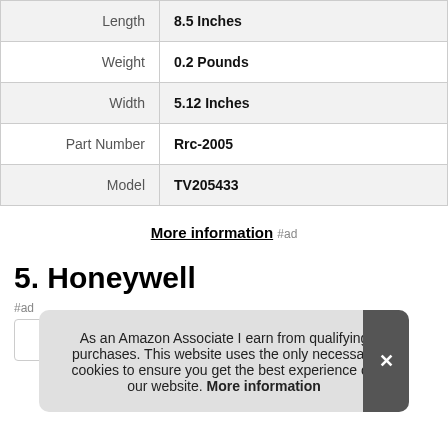| Attribute | Value |
| --- | --- |
| Length | 8.5 Inches |
| Weight | 0.2 Pounds |
| Width | 5.12 Inches |
| Part Number | Rrc-2005 |
| Model | TV205433 |
More information #ad
5. Honeywell
#ad
As an Amazon Associate I earn from qualifying purchases. This website uses the only necessary cookies to ensure you get the best experience on our website. More information